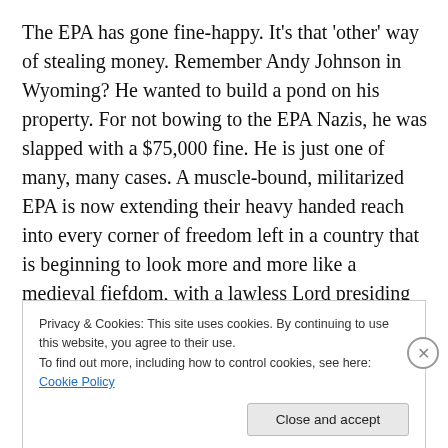The EPA has gone fine-happy. It's that 'other' way of stealing money. Remember Andy Johnson in Wyoming? He wanted to build a pond on his property. For not bowing to the EPA Nazis, he was slapped with a $75,000 fine. He is just one of many, many cases. A muscle-bound, militarized EPA is now extending their heavy handed reach into every corner of freedom left in a country that is beginning to look more and more like a medieval fiefdom, with a lawless Lord presiding over an enforced transformation.
Privacy & Cookies: This site uses cookies. By continuing to use this website, you agree to their use. To find out more, including how to control cookies, see here: Cookie Policy